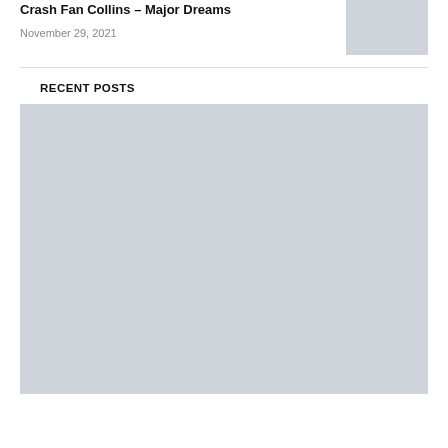Crash Fan Collins – Major Dreams
November 29, 2021
[Figure (photo): Thumbnail image placeholder (light gray box)]
RECENT POSTS
[Figure (photo): Large image placeholder (light gray box)]